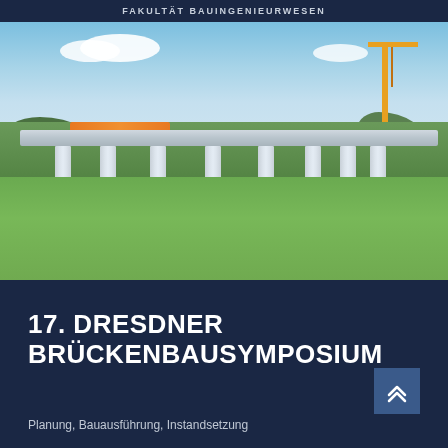FAKULTÄT BAUINGENIEURWESEN
[Figure (photo): Photograph of a highway bridge under construction with tall concrete piers supporting a deck, construction crane visible in background, green fields and trees in foreground, blue sky with clouds.]
17. DRESDNER BRÜCKENBAUSYMPOSIUM
Planung, Bauausführung, Instandsetzung